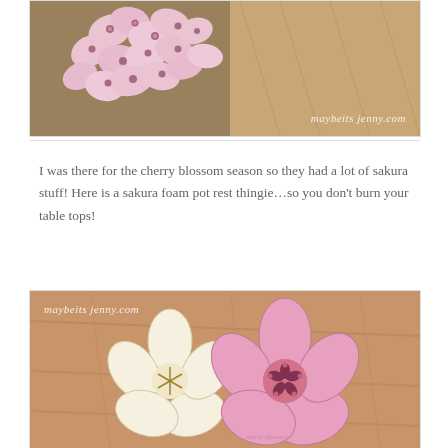[Figure (photo): Close-up photo of pink sakura/cherry blossom foam decorations arranged together on a wooden surface, with watermark 'maybeits jenny.com' in the bottom right corner]
I was there for the cherry blossom season so they had a lot of sakura stuff! Here is a sakura foam pot rest thingie…so you don't burn your table tops!
[Figure (photo): Photo of two sakura/cherry blossom shaped foam pot rests on a wooden table — one cream/white colored and one pink colored, with a stamped 'cherry blossom' text visible, watermark 'maybeits jenny.com' in top left corner]